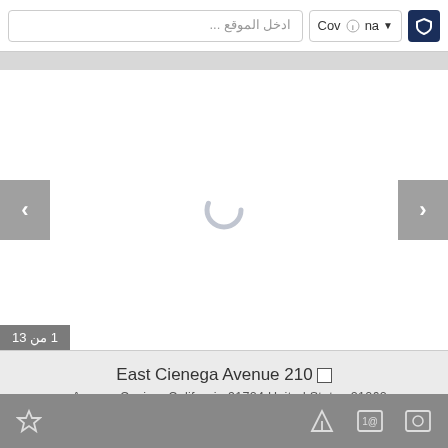[Figure (screenshot): Top search bar with Arabic text input field reading 'ادخل الموقع...', city selector showing 'Covina' with dropdown arrow, and a dark blue shield/security button icon.]
[Figure (screenshot): Real estate listing carousel/image viewer area showing a loading spinner in the center, left and right navigation arrow buttons on gray backgrounds, and an image counter badge reading '1 من 13' in the bottom left.]
East Cienega Avenue 210
...Avenue Covina, California 91724 United States 21062
$4,990 MONTHLY   1,800   3   5
.Listing Courtesy of GREAT WALL REALTY, INC
[Figure (screenshot): Bottom toolbar with gray background showing a star/favorite icon on the left and map/contact/photo icons on the right.]